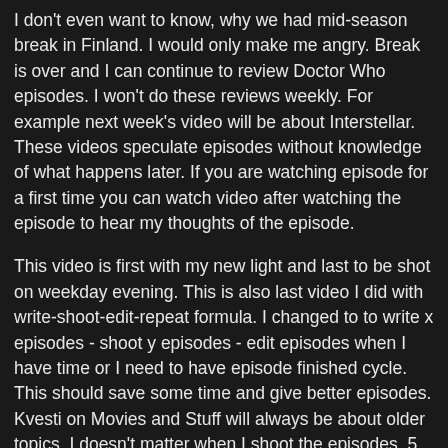I don't even want to know, why we had mid-season break in Finland. I would only make me angry. Break is over and I can continue to review Doctor Who episodes. I won't do these reviews weekly. For example next week's video will be about Interstellar. These videos speculate episodes without knowledge of what happens later. If you are watching episode for a first time you can watch video after watching the episode to hear my thoughts of the episode.
This video is first with my new light and last to be shot on weekday evening. This is also last video I did with write-shoot-edit-repeat formula. I changed to to write x episodes - shoot y episodes - edit episodes when I have time or I need to have episode finished cycle. This should save some time and give better episodes. Kvesti on Movies and Stuff will always be about older topics. I doesn't matter when I shoot the episodes. 5 Minutes with Kvesti have more current topics, but not every week.
Hope you liked this week's video. Next week it will be about Interstellar.
If you liked the video you can find more videos from here.